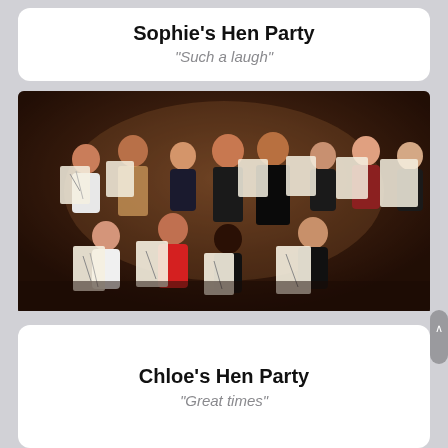Sophie's Hen Party
“Such a laugh”
[Figure (photo): Group photo of a hen party at a life drawing class. A group of approximately 14 women and 2 shirtless male models are holding up their sketch drawings on clipboards. They are in a dark room with exposed brick walls. The women are smiling and laughing.]
Chloe's Hen Party
“Great times”